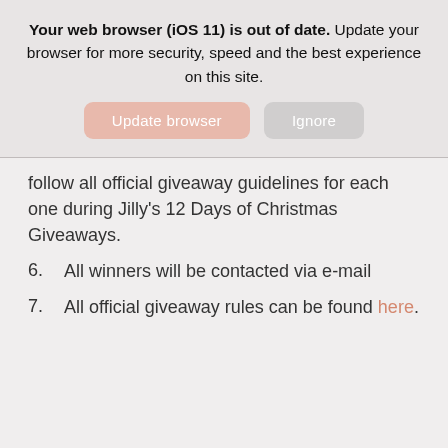Your web browser (iOS 11) is out of date. Update your browser for more security, speed and the best experience on this site.
Update browser | Ignore
follow all official giveaway guidelines for each one during Jilly's 12 Days of Christmas Giveaways.
6. All winners will be contacted via e-mail
7. All official giveaway rules can be found here.